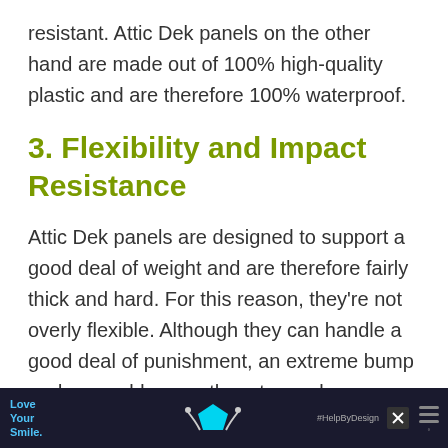resistant. Attic Dek panels on the other hand are made out of 100% high-quality plastic and are therefore 100% waterproof.
3. Flexibility and Impact Resistance
Attic Dek panels are designed to support a good deal of weight and are therefore fairly thick and hard. For this reason, they're not overly flexible. Although they can handle a good deal of punishment, an extreme bump or drop could cause them to crack or snap.
[Figure (other): Advertisement banner at bottom of page: dark background with 'Love Your Smile.' text in blue, a cyan pentagon shape in the center, close button X, #HelpByDesign hashtag, and menu icon on right.]